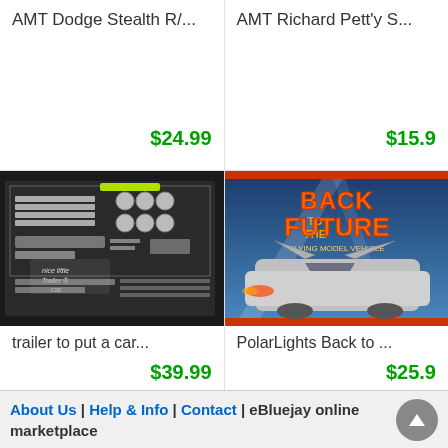AMT Dodge Stealth R/...
$24.99
AMT Richard Pett'y S...
$15.9
[Figure (photo): Model kit parts laid out in plastic bags on a dark background, with handwritten note reading 'nice little trailer Y2E']
trailer to put a car...
$39.99
[Figure (photo): Box art for PolarLights Back to the Future DeLorean model kit, showing the car with flames]
PolarLights Back to ...
$25.9
About Us | Help & Info | Contact | eBluejay online marketplace